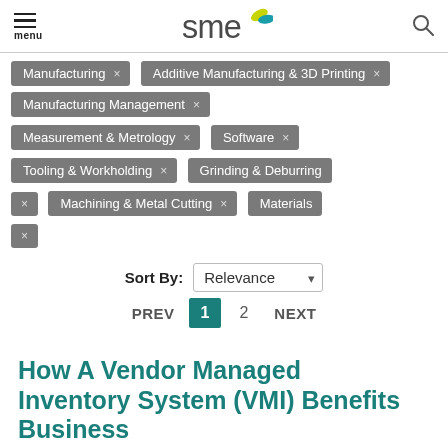menu | SME | search
Manufacturing ×
Additive Manufacturing & 3D Printing ×
Manufacturing Management ×
Measurement & Metrology ×
Software ×
Tooling & Workholding ×
Grinding & Deburring ×
Machining & Metal Cutting ×
Materials ×
Sort By: Relevance
PREV 1 2 NEXT
How A Vendor Managed Inventory System (VMI) Benefits Business